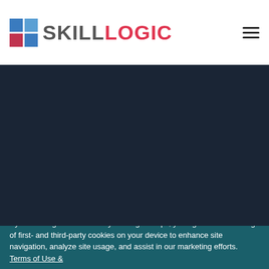[Figure (logo): Skillogic logo with grid icon and text SKILLOGIC in grey and red]
SKILLOGIC is a global leader in ITIL certification training with more than a decade in delivering ITIL training
Accreditations:
[Figure (logo): AXELOS GLOBAL BEST PRACTICE logo — circular spiral icon with text AXELOS GLOBAL BEST PRACTICE]
[Figure (logo): PeopleCert logo — People in white, Cert in orange, tagline: All talents, certified.]
[Figure (other): Scroll-to-top button icon (circle with upward arrow)]
By continuing to browse or by clicking 'Accept', you agree to the storing of first- and third-party cookies on your device to enhance site navigation, analyze site usage, and assist in our marketing efforts. Terms of Use &